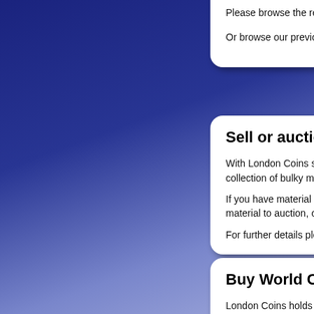Please browse the re... Or browse our previou...
Sell or auction
With London Coins se... collection of bulky mat...
If you have material to... material to auction, or...
For further details plea...
Buy World Co...
London Coins holds a... Coins. This section co...